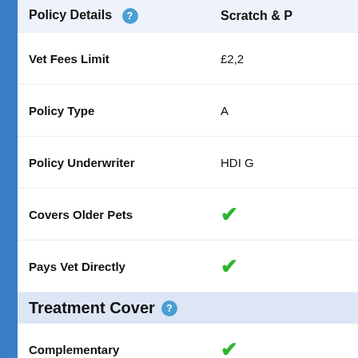| Policy Details | Scratch & P |
| --- | --- |
| Vet Fees Limit | £2,2... |
| Policy Type | A... |
| Policy Underwriter | HDI G... |
| Covers Older Pets | ✓ |
| Pays Vet Directly | ✓ |
| Treatment Cover |  |
| Complementary | ✓ |
| Dental Illness Cover | ✓ |
| Farewell Cover | ✗ |
| Food | ✗ |
| Death or Loss |  |
| Death from Illness/Injury | ✓ |